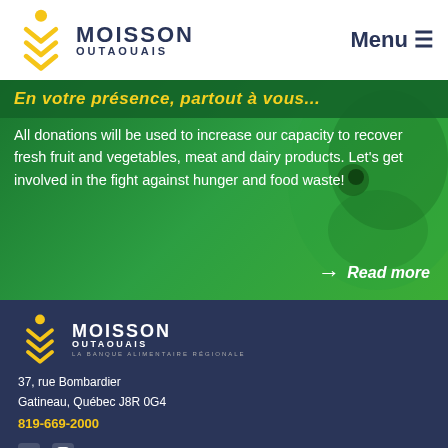Moisson Outaouais — Menu
[Figure (screenshot): Green hero banner with child face in background showing text about donations for fresh food recovery]
All donations will be used to increase our capacity to recover fresh fruit and vegetables, meat and dairy products. Let's get involved in the fight against hunger and food waste!
→ Read more
[Figure (logo): Moisson Outaouais logo — La Banque Alimentaire Régionale, white version on dark blue background]
37, rue Bombardier
Gatineau, Québec J8R 0G4
819-669-2000
[Figure (illustration): Facebook and Instagram social media icons]